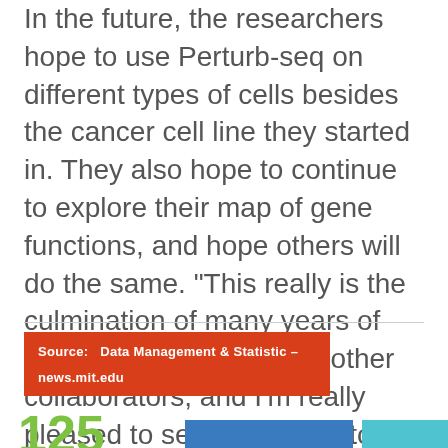In the future, the researchers hope to use Perturb-seq on different types of cells besides the cancer cell line they started in. They also hope to continue to explore their map of gene functions, and hope others will do the same. “This really is the culmination of many years of work by the authors and other collaborators, and I’m really pleased to see it continue to succeed and expand,” says Norman.
Source:   Data Management & Statistic – news.mit.edu
125